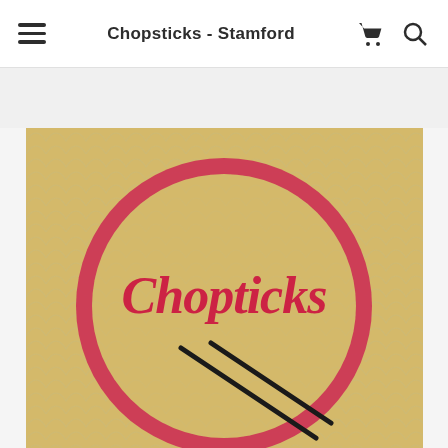Chopsticks - Stamford
[Figure (logo): Chopsticks restaurant logo: a round plate with a pink/red circular border on a gold background with Japanese wave pattern, featuring the word 'Chopticks' in red cursive script and two black chopsticks crossing below.]